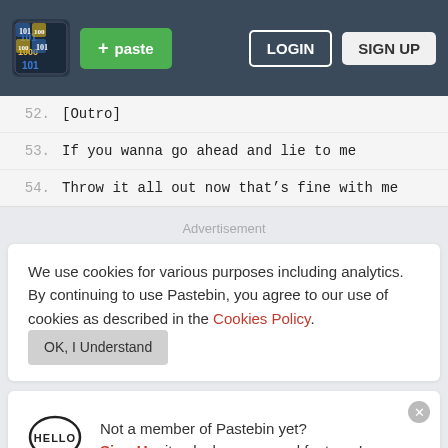[Figure (screenshot): Pastebin website header with logo, green paste button, LOGIN and SIGN UP buttons on dark teal background]
52.  [Outro]
53.  If you wanna go ahead and lie to me
54.  Throw it all out now that’s fine with me
Advertisement
We use cookies for various purposes including analytics. By continuing to use Pastebin, you agree to our use of cookies as described in the Cookies Policy.  OK, I Understand
Not a member of Pastebin yet? Sign Up, it unlocks many cool features!